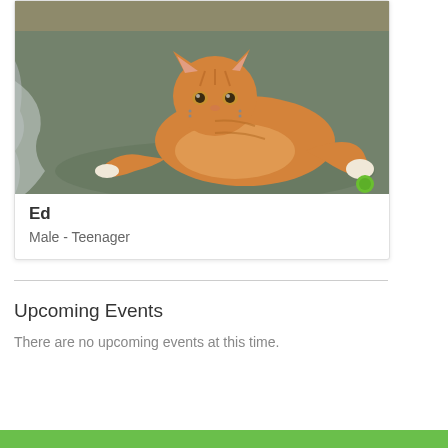[Figure (photo): Orange tabby cat lying on a grey-green fuzzy surface on a cat tree, looking at the camera. A grey cloth and green toy are visible nearby.]
Ed
Male - Teenager
Upcoming Events
There are no upcoming events at this time.